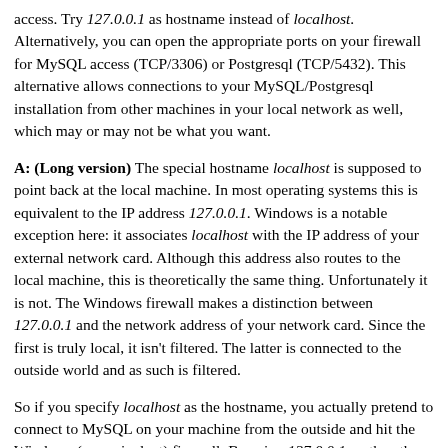access. Try 127.0.0.1 as hostname instead of localhost. Alternatively, you can open the appropriate ports on your firewall for MySQL access (TCP/3306) or Postgresql (TCP/5432). This alternative allows connections to your MySQL/Postgresql installation from other machines in your local network as well, which may or may not be what you want.
A: (Long version) The special hostname localhost is supposed to point back at the local machine. In most operating systems this is equivalent to the IP address 127.0.0.1. Windows is a notable exception here: it associates localhost with the IP address of your external network card. Although this address also routes to the local machine, this is theoretically the same thing. Unfortunately it is not. The Windows firewall makes a distinction between 127.0.0.1 and the network address of your network card. Since the first is truly local, it isn't filtered. The latter is connected to the outside world and as such is filtered.
So if you specify localhost as the hostname, you actually pretend to connect to MySQL on your machine from the outside and hit the Windows (or equivalent) firewall. By using 127.0.0.1 on the other hand, your connection remains truly internal and is not filtered by the firewall.